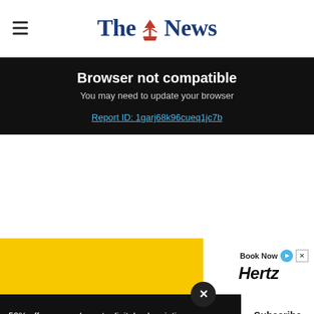The News
Browser not compatible
You may need to update your browser
Report ID: 1garj68k96cueq1jc7b
[Figure (other): Hertz advertisement banner with yellow background and Book Now button]
50% off an annual sports digital subscription